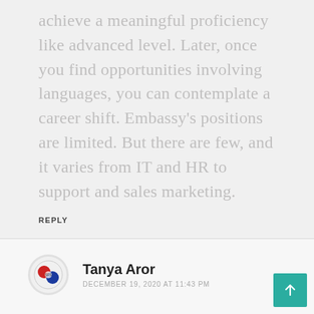achieve a meaningful proficiency like advanced level. Later, once you find opportunities involving languages, you can contemplate a career shift. Embassy's positions are limited. But there are few, and it varies from IT and HR to support and sales marketing.
REPLY
Tanya Aror
DECEMBER 19, 2020 AT 11:43 PM
Hello Sir,
I am currently working in Amazon as an International customer service associate